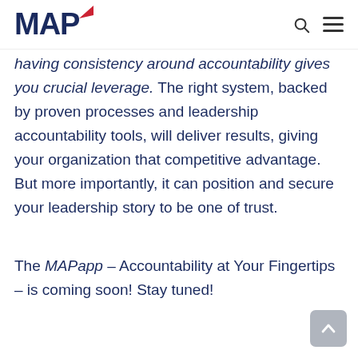MAP
having consistency around accountability gives you crucial leverage. The right system, backed by proven processes and leadership accountability tools, will deliver results, giving your organization that competitive advantage. But more importantly, it can position and secure your leadership story to be one of trust.
The MAPapp – Accountability at Your Fingertips – is coming soon! Stay tuned!